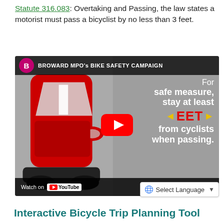Statute 316.083: Overtaking and Passing, the law states a motorist must pass a bicyclist by no less than 3 feet.
[Figure (screenshot): YouTube video thumbnail for Broward MPO's Bike Safety Campaign. Shows illustrated red car on the left side, gray background on the right with white text reading 'For safe measure, stay at least [3] FEET from cyclists when passing.' with yellow arrows indicating distance and a red YouTube play button in the center. Channel icon is a pink circle with 'B'. Bottom bar shows 'Watch on YouTube'.]
Select Language
Interactive Bicycle Trip Planning Tool